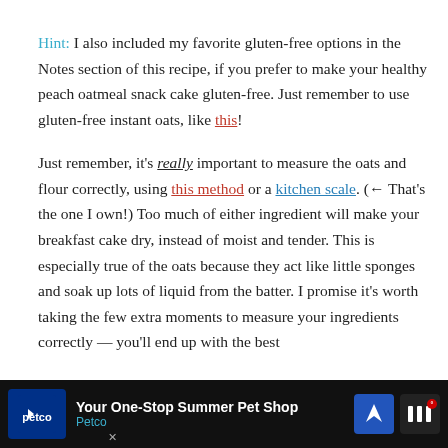Hint: I also included my favorite gluten-free options in the Notes section of this recipe, if you prefer to make your healthy peach oatmeal snack cake gluten-free. Just remember to use gluten-free instant oats, like this!
Just remember, it's really important to measure the oats and flour correctly, using this method or a kitchen scale. (← That's the one I own!) Too much of either ingredient will make your breakfast cake dry, instead of moist and tender. This is especially true of the oats because they act like little sponges and soak up lots of liquid from the batter. I promise it's worth taking the few extra moments to measure your ingredients correctly — you'll end up with the best
[Figure (other): Advertisement banner for Petco: 'Your One-Stop Summer Pet Shop' with Petco logo, navigation arrow icon, and WeatherBug icon on black background]